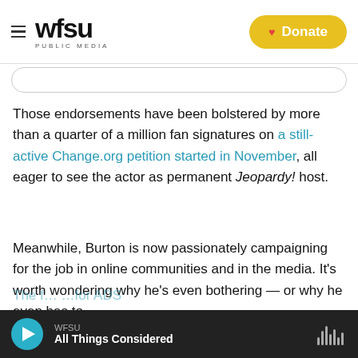WFSU PUBLIC MEDIA | Donate
Those endorsements have been bolstered by more than a quarter of a million fan signatures on a still-active Change.org petition started in November, all eager to see the actor as permanent Jeopardy! host.
Meanwhile, Burton is now passionately campaigning for the job in online communities and in the media. It's worth wondering why he's even bothering — or why he even has to.
WFSU — All Things Considered